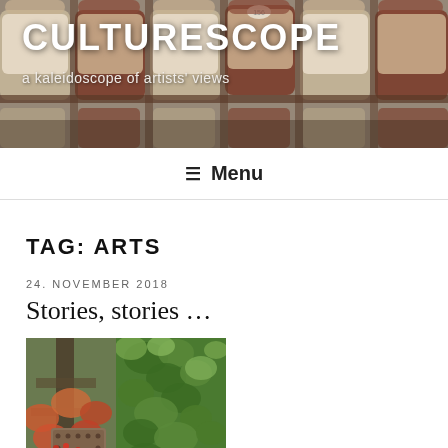[Figure (photo): Theater seats banner with cream and dark red upholstered seats, background photo for blog header]
CULTURESCOPE
a kaleidoscope of artists' views
≡ Menu
TAG: ARTS
24. NOVEMBER 2018
Stories, stories …
[Figure (photo): A rustic wooden door covered with green ivy and decorated with red autumn leaves and berries]